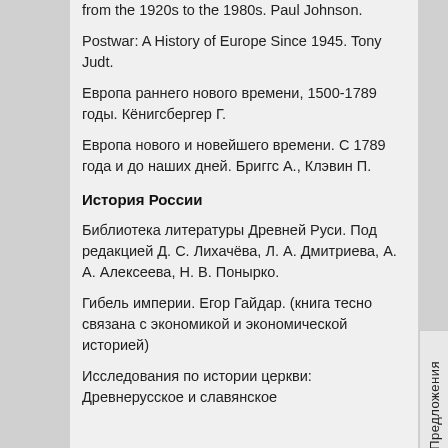from the 1920s to the 1980s. Paul Johnson.
Postwar: A History of Europe Since 1945. Tony Judt.
Европа раннего нового времени, 1500-1789 годы. Кёнигсбергер Г.
Европа нового и новейшего времени. С 1789 года и до наших дней. Бриггс А., Клэвин П.
История России
Библиотека литературы Древней Руси. Под редакцией Д. С. Лихачёва, Л. А. Дмитриева, А. А. Алексеева, Н. В. Понырко.
Гибель империи. Егор Гайдар. (книга тесно связана с экономикой и экономической историей)
Исследования по истории церкви: Древнерусское и славянское